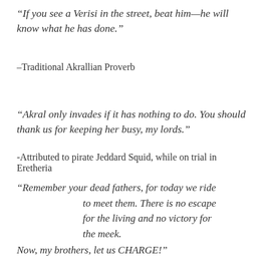“If you see a Verisi in the street, beat him—he will know what he has done.”
–Traditional Akrallian Proverb
“Akral only invades if it has nothing to do. You should thank us for keeping her busy, my lords.”
-Attributed to pirate Jeddard Squid, while on trial in Eretheria
“Remember your dead fathers, for today we ride to meet them. There is no escape for the living and no victory for the meek.
Now, my brothers, let us CHARGE!”